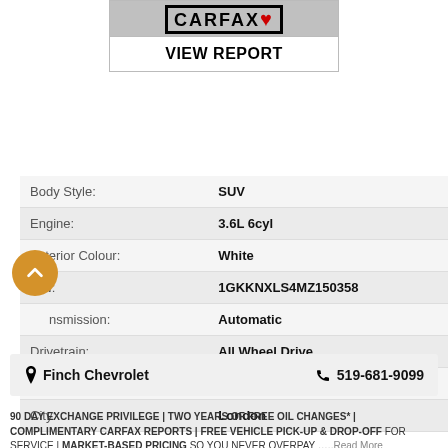[Figure (logo): Carfax Canada logo with VIEW REPORT button]
| Body Style: | SUV |
| Engine: | 3.6L 6cyl |
| Exterior Colour: | White |
| VIN: | 1GKKNXLS4MZ150358 |
| Transmission: | Automatic |
| Drivetrain: | All Wheel Drive |
| Stock #: | 153117 |
| City: | London |
Finch Chevrolet  519-681-9099
90 DAY EXCHANGE PRIVILEGE | TWO YEARS OF FREE OIL CHANGES* | COMPLIMENTARY CARFAX REPORTS | FREE VEHICLE PICK-UP & DROP-OFF FOR SERVICE | MARKET-BASED PRICING SO YOU NEVER OVERPAY .....Read More